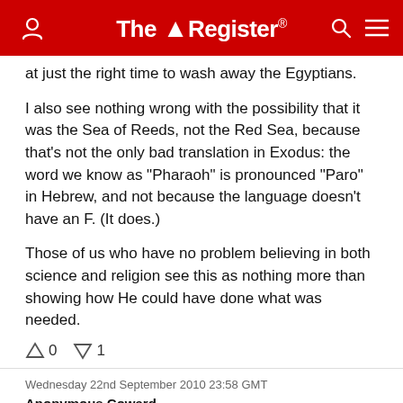The Register
at just the right time to wash away the Egyptians.
I also see nothing wrong with the possibility that it was the Sea of Reeds, not the Red Sea, because that's not the only bad translation in Exodus: the word we know as "Pharaoh" is pronounced "Paro" in Hebrew, and not because the language doesn't have an F. (It does.)
Those of us who have no problem believing in both science and religion see this as nothing more than showing how He could have done what was needed.
↑0  ↓1
Wednesday 22nd September 2010 23:58 GMT
Anonymous Coward
Report abuse
Was it the same computer model